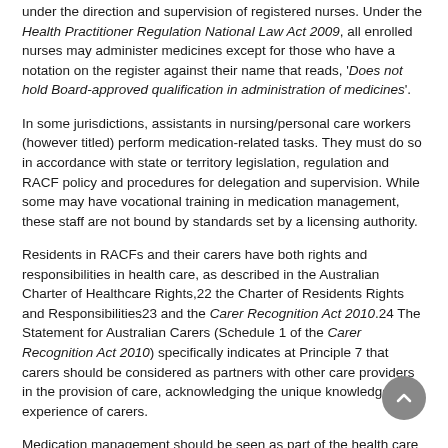under the direction and supervision of registered nurses. Under the Health Practitioner Regulation National Law Act 2009, all enrolled nurses may administer medicines except for those who have a notation on the register against their name that reads, 'Does not hold Board-approved qualification in administration of medicines'.
In some jurisdictions, assistants in nursing/personal care workers (however titled) perform medication-related tasks. They must do so in accordance with state or territory legislation, regulation and RACF policy and procedures for delegation and supervision. While some may have vocational training in medication management, these staff are not bound by standards set by a licensing authority.
Residents in RACFs and their carers have both rights and responsibilities in health care, as described in the Australian Charter of Healthcare Rights,22 the Charter of Residents Rights and Responsibilities23 and the Carer Recognition Act 2010.24 The Statement for Australian Carers (Schedule 1 of the Carer Recognition Act 2010) specifically indicates at Principle 7 that carers should be considered as partners with other care providers in the provision of care, acknowledging the unique knowledge and experience of carers.
Medication management should be seen as part of the health care functions